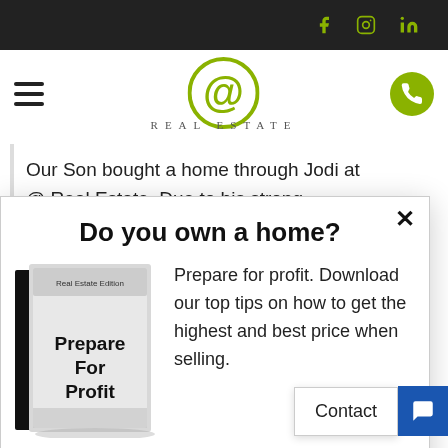Social media icons: f (Facebook), Instagram, in (LinkedIn)
[Figure (logo): @ Real Estate logo with green @ symbol and spaced serif text REAL ESTATE below]
Our Son bought a home through Jodi at @ Real Estate. Due to his strong recommendation for us to
Do you own a home?
Prepare for profit. Download our top tips on how to get the highest and best price when selling.
[Figure (illustration): Book cover: 'Real Estate Edition - Prepare For Profit' with grey/white tones]
Get It No
Contact